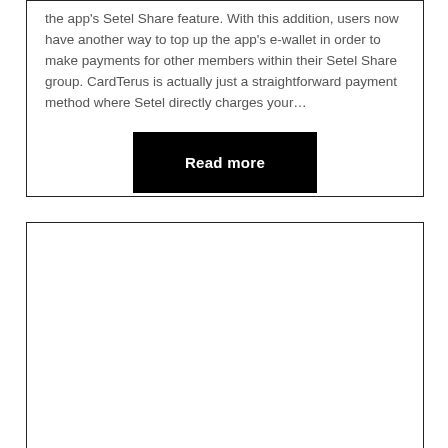the app's Setel Share feature. With this addition, users now have another way to top up the app's e-wallet in order to make payments for other members within their Setel Share group. CardTerus is actually just a straightforward payment method where Setel directly charges your...
Read more
[Figure (other): Empty white card/box with border, no visible content inside.]